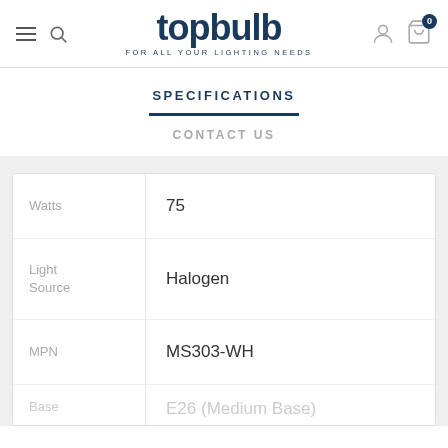topbulb FOR ALL YOUR LIGHTING NEEDS
SPECIFICATIONS
CONTACT US
| Attribute | Value |
| --- | --- |
| Watts | 75 |
| Light Source | Halogen |
| MPN | MS303-WH |
| Base | E26 (Medium Base) |